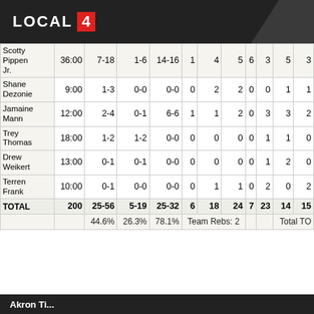LOCAL 4
| Player | MIN | FG | 3P | FT | OR | DR | REB | A | PF | ST | TO |
| --- | --- | --- | --- | --- | --- | --- | --- | --- | --- | --- | --- |
| Scotty Pippen Jr. | 36:00 | 7-18 | 1-6 | 14-16 | 1 | 4 | 5 | 6 | 3 | 5 | 3 |
| Shane Dezonie | 9:00 | 1-3 | 0-0 | 0-0 | 0 | 2 | 2 | 0 | 0 | 1 | 1 |
| Jamaine Mann | 12:00 | 2-4 | 0-1 | 6-6 | 1 | 1 | 2 | 0 | 3 | 3 | 2 |
| Trey Thomas | 18:00 | 1-2 | 1-2 | 0-0 | 0 | 0 | 0 | 0 | 1 | 1 | 0 |
| Drew Weikert | 13:00 | 0-1 | 0-1 | 0-0 | 0 | 0 | 0 | 0 | 1 | 2 | 0 |
| Terren Frank | 10:00 | 0-1 | 0-0 | 0-0 | 0 | 1 | 1 | 0 | 2 | 0 | 2 |
| TOTAL | 200 | 25-56 | 5-19 | 25-32 | 6 | 18 | 24 | 7 | 23 | 14 | 15 |
|  |  | 44.6% | 26.3% | 78.1% | Team Rebs: 2 |  |  |  |  | Total TO |  |
Akron Ti...